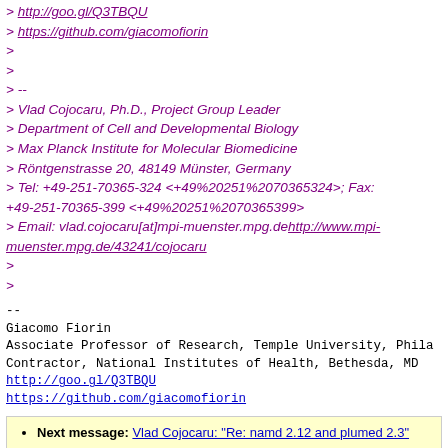> http://goo.gl/Q3TBQU
> https://github.com/giacomofiorin
>
>
> --
> Vlad Cojocaru, Ph.D., Project Group Leader
> Department of Cell and Developmental Biology
> Max Planck Institute for Molecular Biomedicine
> Röntgenstrasse 20, 48149 Münster, Germany
> Tel: +49-251-70365-324 <+49%20251%2070365324>; Fax: +49-251-70365-399 <+49%20251%2070365399>
> Email: vlad.cojocaru[at]mpi-muenster.mpg.de http://www.mpi-muenster.mpg.de/43241/cojocaru
>
>
--
Giacomo Fiorin
Associate Professor of Research, Temple University, Phila
Contractor, National Institutes of Health, Bethesda, MD
http://goo.gl/Q3TBQU
https://github.com/giacomofiorin
Next message: Vlad Cojocaru: "Re: namd 2.12 and plumed 2.3"
Previous message: Vlad Cojocaru: "Re: namd 2.12 and plumed 2.3"